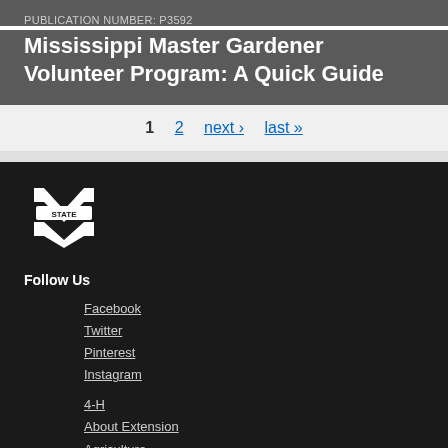PUBLICATION NUMBER: P3592
Mississippi Master Gardener Volunteer Program: A Quick Guide
1  2  next ›  last »
[Figure (logo): Mississippi State University M-STATE logo in white on dark background]
Follow Us
Facebook
Twitter
Pinterest
Instagram
4-H
About Extension
Agriculture
Community
Family
Food and Health